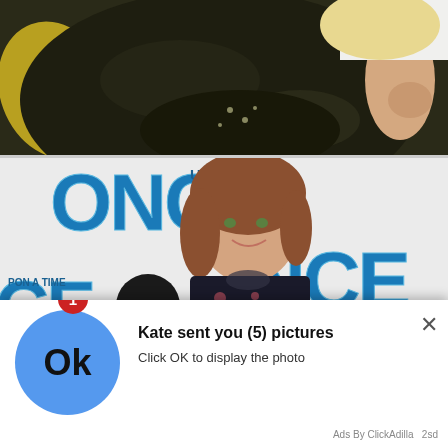[Figure (photo): Top portion: a person in a dark embroidered jacket against white background with a yellow pillow visible, blonde hair, arm showing]
[Figure (photo): Woman with auburn/brown hair in floral dress posing at an ABC 'Once Upon A Time' press event backdrop, with abc logo visible]
[Figure (screenshot): Notification popup overlay: blue circle with 'Ok' text, red badge with '1'. Text reads 'Kate sent you (5) pictures' / 'Click OK to display the photo'. Close X button. Footer: 'Ads By ClickAdilla  2sd']